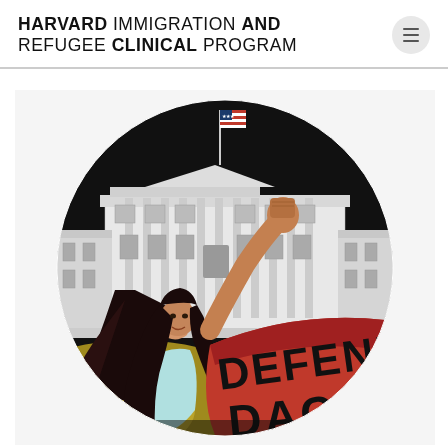HARVARD IMMIGRATION AND REFUGEE CLINICAL PROGRAM
[Figure (illustration): Circular illustration on black background showing a young woman with dark hair, fist raised, holding a red banner reading 'DEFEND DACA', with the White House depicted behind her in black-and-white style, and an American flag at the top.]